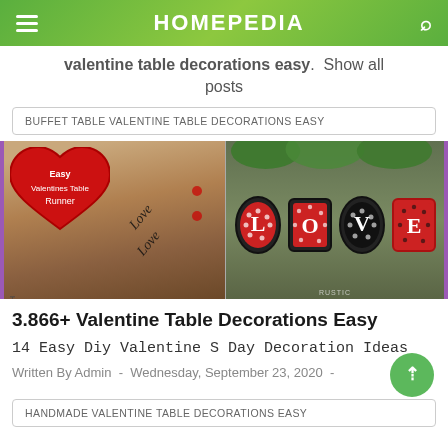HOMEPEDIA
valentine table decorations easy. Show all posts
BUFFET TABLE VALENTINE TABLE DECORATIONS EASY
[Figure (photo): Two Valentine's Day decoration photos side by side: left shows a burlap table runner with red hearts and cursive 'Love' script; right shows four framed letters spelling LOVE in red and black polka dot frames.]
3.866+ Valentine Table Decorations Easy
14 Easy Diy Valentine S Day Decoration Ideas
Written By Admin  -  Wednesday, September 23, 2020  -
HANDMADE VALENTINE TABLE DECORATIONS EASY